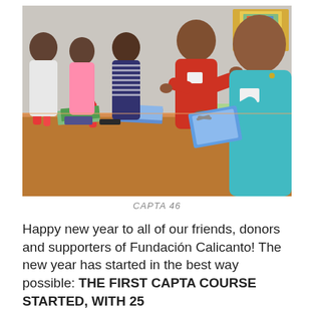[Figure (photo): Group of women and children sitting at a long table doing a craft activity. Several participants are working with papers, scissors, and glue bottles. A woman in a red shirt and another in a teal shirt are prominently visible in the foreground. The setting appears to be a classroom or community center.]
CAPTA 46
Happy new year to all of our friends, donors and supporters of Fundación Calicanto! The new year has started in the best way possible: THE FIRST CAPTA COURSE STARTED, WITH 25